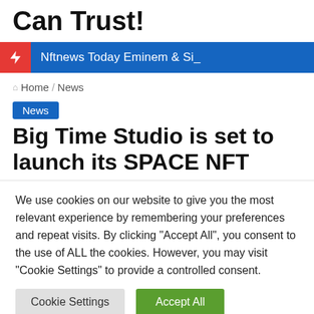Can Trust!
Nftnews Today Eminem & Si_
🏠 Home / News
News
Big Time Studio is set to launch its SPACE NFT
We use cookies on our website to give you the most relevant experience by remembering your preferences and repeat visits. By clicking "Accept All", you consent to the use of ALL the cookies. However, you may visit "Cookie Settings" to provide a controlled consent.
Cookie Settings | Accept All